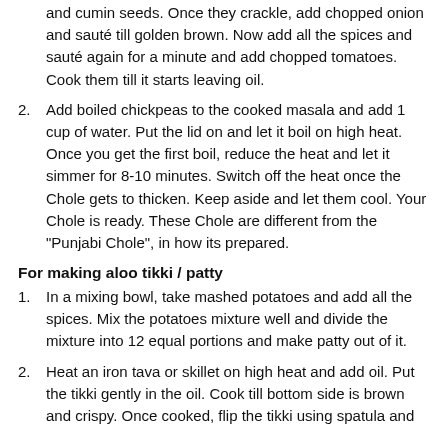(continuation) and cumin seeds. Once they crackle, add chopped onion and sauté till golden brown. Now add all the spices and sauté again for a minute and add chopped tomatoes. Cook them till it starts leaving oil.
2. Add boiled chickpeas to the cooked masala and add 1 cup of water. Put the lid on and let it boil on high heat. Once you get the first boil, reduce the heat and let it simmer for 8-10 minutes. Switch off the heat once the Chole gets to thicken. Keep aside and let them cool. Your Chole is ready. These Chole are different from the "Punjabi Chole", in how its prepared.
For making aloo tikki / patty
1. In a mixing bowl, take mashed potatoes and add all the spices. Mix the potatoes mixture well and divide the mixture into 12 equal portions and make patty out of it.
2. Heat an iron tava or skillet on high heat and add oil. Put the tikki gently in the oil. Cook till bottom side is brown and crispy. Once cooked, flip the tikki using spatula and